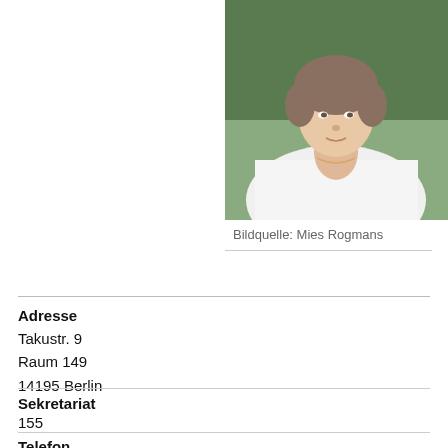[Figure (photo): Portrait photo of a woman in a white shirt with a necklace, partial view cropped at top, with dark green background]
Bildquelle: Mies Rogmans
Adresse
Takustr. 9
Raum 149
14195 Berlin
Sekretariat
155
Telefon
+49 30 838 75146